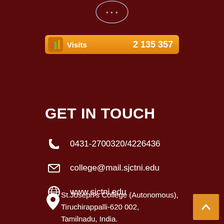[Figure (logo): College crest/logo at top center]
Visits  2 135 357
GET IN TOUCH
0431-2700320/4226436
college@mail.sjctni.edu
www.sjctni.edu
St.Joseph's College (Autonomous), Tiruchirappalli-620 002, Tamilnadu, India.